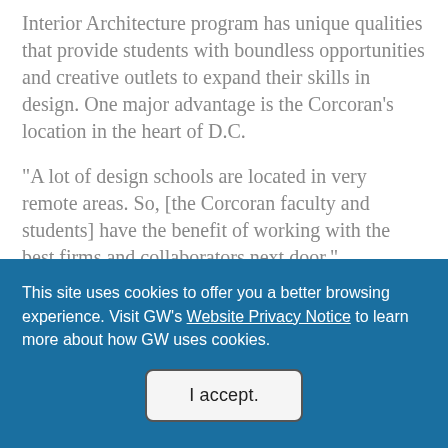Interior Architecture program has unique qualities that provide students with boundless opportunities and creative outlets to expand their skills in design. One major advantage is the Corcoran’s location in the heart of D.C.
“A lot of design schools are located in very remote areas. So, [the Corcoran faculty and students] have the benefit of working with the best firms and collaborators next door,” Volchansky explained.
This site uses cookies to offer you a better browsing experience. Visit GW’s Website Privacy Notice to learn more about how GW uses cookies.
I accept.